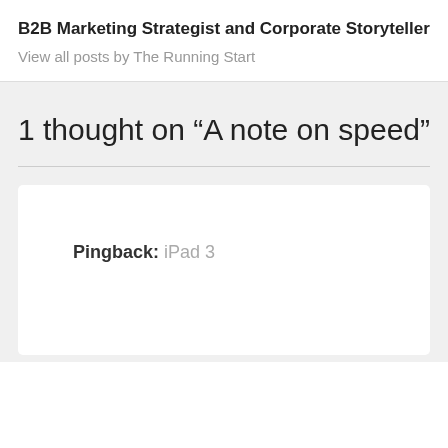B2B Marketing Strategist and Corporate Storyteller
View all posts by The Running Start
1 thought on “A note on speed”
Pingback: iPad 3